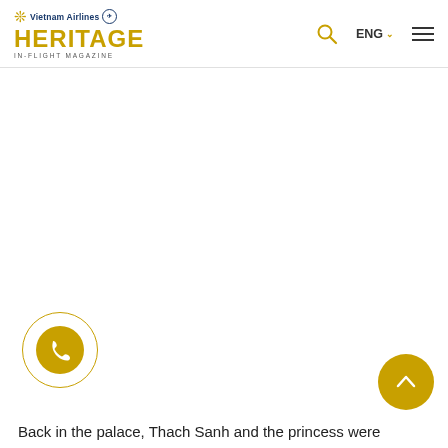Vietnam Airlines Heritage In-Flight Magazine
Back in the palace, Thach Sanh and the princess were